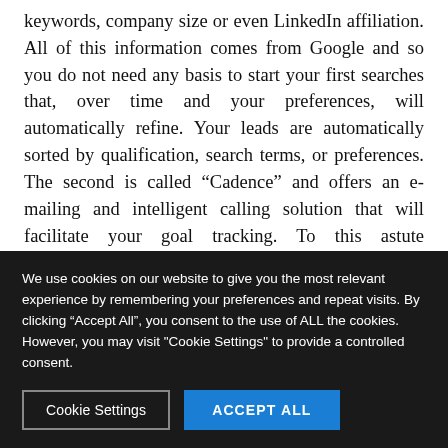keywords, company size or even LinkedIn affiliation. All of this information comes from Google and so you do not need any basis to start your first searches that, over time and your preferences, will automatically refine. Your leads are automatically sorted by qualification, search terms, or preferences. The second is called “Cadence” and offers an e-mailing and intelligent calling solution that will facilitate your goal tracking. To this astute combination is added an almost direct Sales force integration since Sales-loft is an external branch of
We use cookies on our website to give you the most relevant experience by remembering your preferences and repeat visits. By clicking “Accept All”, you consent to the use of ALL the cookies. However, you may visit "Cookie Settings" to provide a controlled consent.
Cookie Settings
ACCEPT ALL